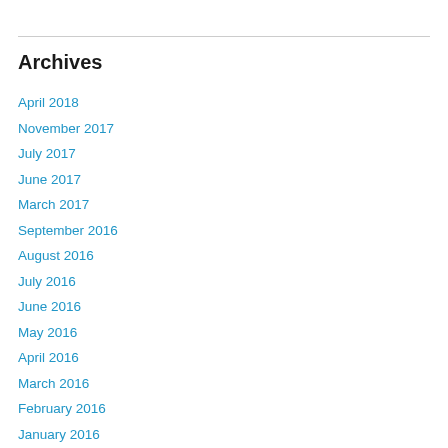Archives
April 2018
November 2017
July 2017
June 2017
March 2017
September 2016
August 2016
July 2016
June 2016
May 2016
April 2016
March 2016
February 2016
January 2016
December 2015
November 2015